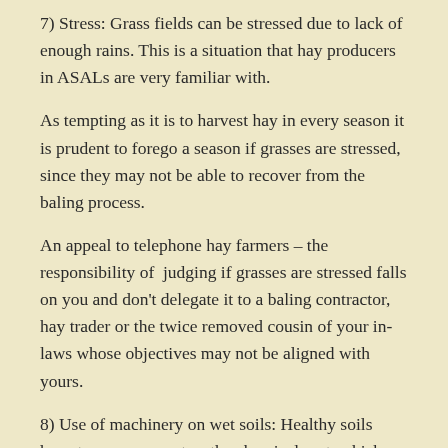7) Stress: Grass fields can be stressed due to lack of enough rains. This is a situation that hay producers in ASALs are very familiar with.
As tempting as it is to harvest hay in every season it is prudent to forego a season if grasses are stressed, since they may not be able to recover from the baling process.
An appeal to telephone hay farmers – the responsibility of judging if grasses are stressed falls on you and don't delegate it to a baling contractor, hay trader or the twice removed cousin of your in-laws whose objectives may not be aligned with yours.
8) Use of machinery on wet soils: Healthy soils have two components – the chemical part, which we control by use of fertilizers/manures, and the structure part, which